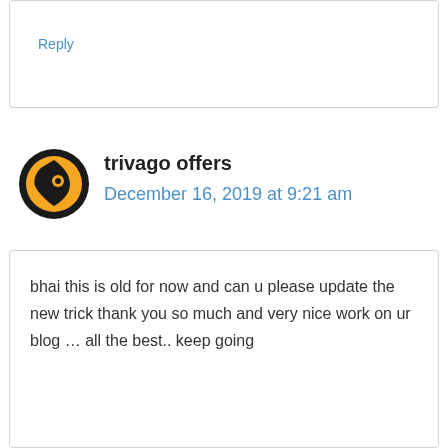Reply
trivago offers
December 16, 2019 at 9:21 am
bhai this is old for now and can u please update the new trick thank you so much and very nice work on ur blog … all the best.. keep going